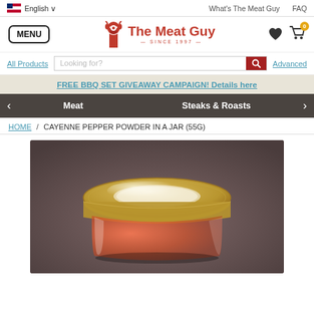English | What's The Meat Guy | FAQ
[Figure (logo): The Meat Guy logo with bull icon and text 'The Meat Guy SINCE 1997']
MENU
Looking for?
All Products
Advanced
FREE BBQ SET GIVEAWAY CAMPAIGN! Details here
Meat   Steaks & Roasts
HOME / CAYENNE PEPPER POWDER IN A JAR (55G)
[Figure (photo): Close-up photo of a glass jar of cayenne pepper powder with a gold metal lid, viewed from slightly above, showing red pepper powder inside the jar, bokeh background]